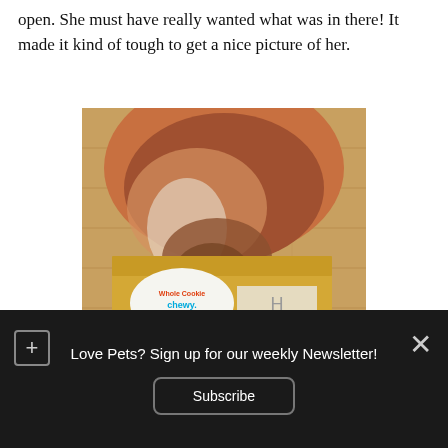open. She must have really wanted what was in there! It made it kind of tough to get a nice picture of her.
[Figure (photo): A dog sniffing/opening a Chewy.com delivery box on a wooden floor. A blue banner at the bottom reads 'SPECIAL DELIVERY!' in bold white text.]
Love Pets? Sign up for our weekly Newsletter! Subscribe